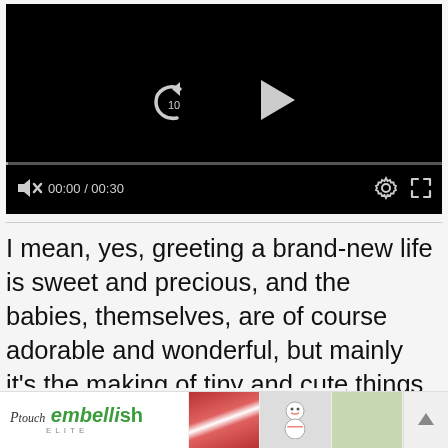[Figure (screenshot): Video player showing a black screen with replay (10s) and play buttons in the center, a progress bar, and bottom controls showing muted speaker icon, 00:00 / 00:30 timestamp, settings gear icon, and fullscreen expand icon.]
I mean, yes, greeting a brand-new life is sweet and precious, and the babies, themselves, are of course adorable and wonderful, but mainly it’s the making of tiny and cute things that I get excited about.
Give me a sewing machine and a friend’s new baby
[Figure (screenshot): Advertisement banner for P-touch Embellish Elite showing logo text and three small product/lifestyle images on the right, with an up-arrow back button on the far right.]